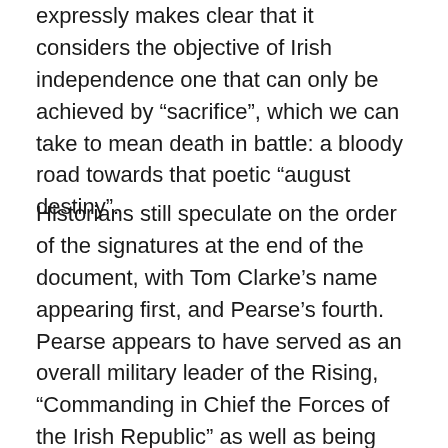expressly makes clear that it considers the objective of Irish independence one that can only be achieved by “sacrifice”, which we can take to mean death in battle: a bloody road towards that poetic “august destiny”.
Historians still speculate on the order of the signatures at the end of the document, with Tom Clarke’s name appearing first, and Pearse’s fourth. Pearse appears to have served as an overall military leader of the Rising, “Commanding in Chief the Forces of the Irish Republic” as well as being the “President of the Provisional Government”, but this was mostly a symbolic appointment: Pearse did very little commanding on Easter Week, with military affairs, at least from the headquarters position, left to Connolly. It has long been thought that Clarke was meant to take the position of primacy, owing to his age, experience and reputation, but he may have refused the